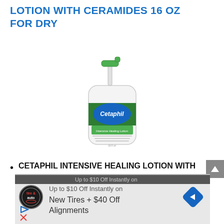LOTION WITH CERAMIDES 16 OZ FOR DRY
[Figure (photo): Cetaphil Intensive Healing Lotion with Ceramides, white pump bottle with green pump and Cetaphil label]
CETAPHIL INTENSIVE HEALING LOTION WITH CERAMIDES: Specifically developed to hydrate and smooth rough, dry, flaky skin.
[Figure (screenshot): Advertisement banner: Tire & Auto logo, text 'Up to $10 Off Instantly on New Tires + $40 Off Alignments', blue diamond arrow icon, play and close icons at bottom]